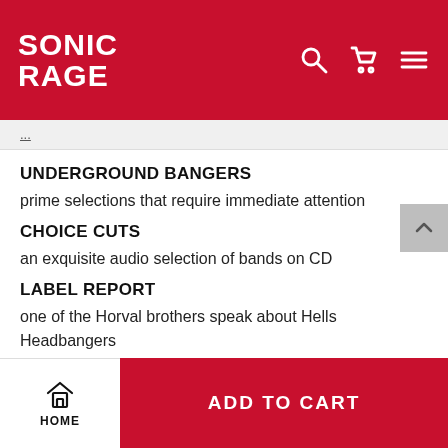SONIC RAGE
UNDERGROUND BANGERS
prime selections that require immediate attention
CHOICE CUTS
an exquisite audio selection of bands on CD
LABEL REPORT
one of the Horval brothers speak about Hells Headbangers
DIARY OF A METALHEAD
HOME  ADD TO CART